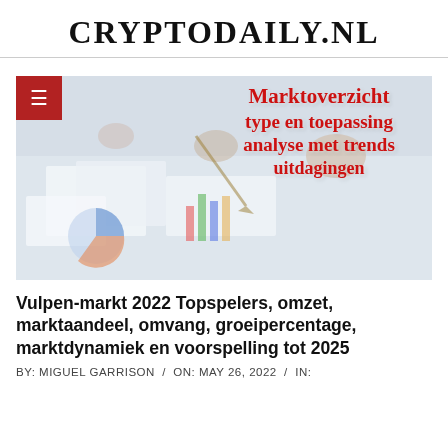CRYPTODAILY.NL
[Figure (photo): Photo of people working with charts and graphs on a table, overlaid with red stylized Dutch text: 'Marktoverzicht type en toepassing analyse met trends uitdagingen']
Vulpen-markt 2022 Topspelers, omzet, marktaandeel, omvang, groeipercentage, marktdynamiek en voorspelling tot 2025
BY: MIGUEL GARRISON / ON: MAY 26, 2022 / IN: